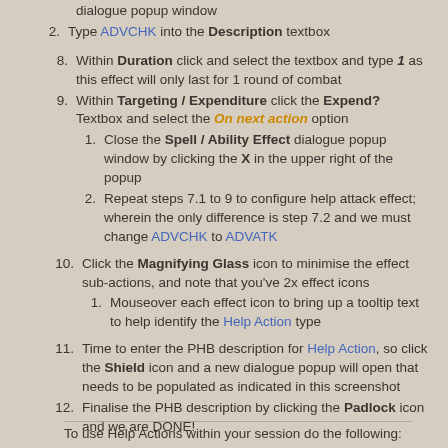dialogue popup window
2. Type ADVCHK into the Description textbox
8. Within Duration click and select the textbox and type 1 as this effect will only last for 1 round of combat
9. Within Targeting / Expenditure click the Expend? Textbox and select the On next action option
1. Close the Spell / Ability Effect dialogue popup window by clicking the X in the upper right of the popup
2. Repeat steps 7.1 to 9 to configure help attack effect; wherein the only difference is step 7.2 and we must change ADVCHK to ADVATK
10. Click the Magnifying Glass icon to minimise the effect sub-actions, and note that you've 2x effect icons
1. Mouseover each effect icon to bring up a tooltip text to help identify the Help Action type
11. Time to enter the PHB description for Help Action, so click the Shield icon and a new dialogue popup will open that needs to be populated as indicated in this screenshot
12. Finalise the PHB description by clicking the Padlock icon and we are DONE!
To use Help Actions within your session do the following: